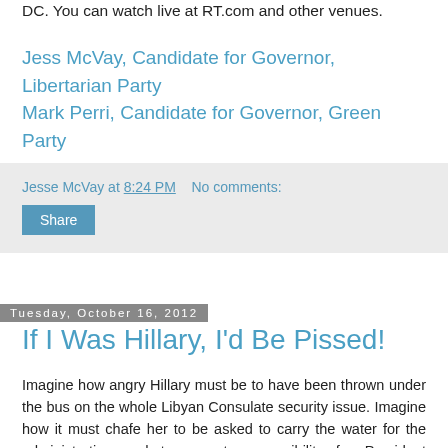DC. You can watch live at RT.com and other venues.
Jess McVay, Candidate for Governor, Libertarian Party
Mark Perri, Candidate for Governor, Green Party
Jesse McVay at 8:24 PM    No comments:
Share
Tuesday, October 16, 2012
If I Was Hillary, I'd Be Pissed!
Imagine how angry Hillary must be to have been thrown under the bus on the whole Libyan Consulate security issue. Imagine how it must chafe her to be asked to carry the water for the administration and to accept responsibility for President Obama on a major issue like this just because Joe Biden was such a weasel at the debate and couldn't own up to a mistake. Imagine how many of Hillary's supporters will share her dismay with a president who they see as basically inept and inferior to Hillary in just about every way. Imagine a sizable number of those disaffected voters abandoning the president on November 6.